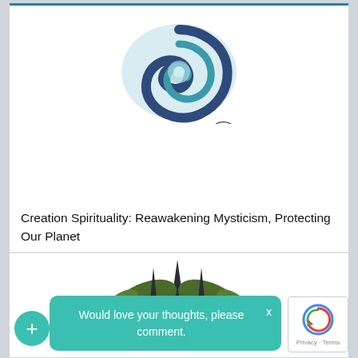[Figure (logo): Creation Spirituality Communities logo: a teal/navy spiral circle above stylized cursive 'Communities' text with 'CREATION SPIRITUALITY' printed above it in navy.]
Creation Spirituality: Reawakening Mysticism, Protecting Our Planet
[Figure (illustration): Partial lotus/leaf illustration in dark green and near-black, partially obscured by a tooltip overlay.]
Would love your thoughts, please comment.